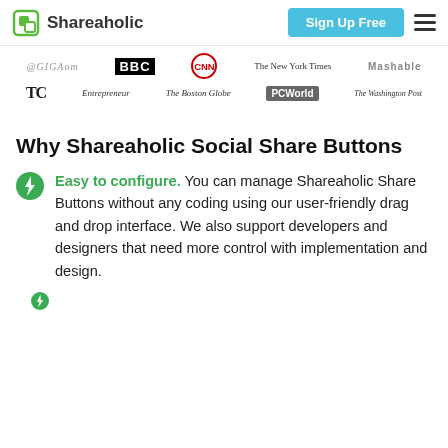Shareaholic | Sign Up Free
[Figure (logo): Media logos strip: GigaOm, BBC, CNN, The New York Times, Mashable (top row); TechCrunch, Entrepreneur, The Boston Globe, PCWorld, The Washington Post (bottom row)]
Why Shareaholic Social Share Buttons
Easy to configure. You can manage Shareaholic Share Buttons without any coding using our user-friendly drag and drop interface. We also support developers and designers that need more control with implementation and design.